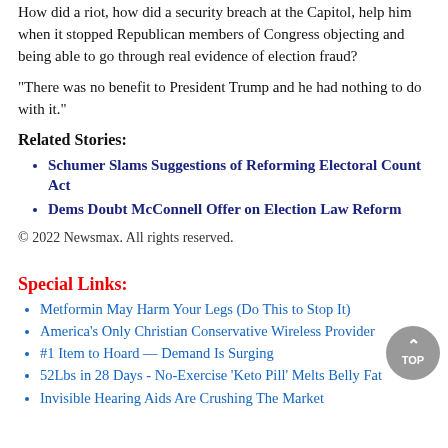How did a riot, how did a security breach at the Capitol, help him when it stopped Republican members of Congress objecting and being able to go through real evidence of election fraud?
"There was no benefit to President Trump and he had nothing to do with it."
Related Stories:
Schumer Slams Suggestions of Reforming Electoral Count Act
Dems Doubt McConnell Offer on Election Law Reform
© 2022 Newsmax. All rights reserved.
Special Links:
Metformin May Harm Your Legs (Do This to Stop It)
America's Only Christian Conservative Wireless Provider
#1 Item to Hoard — Demand Is Surging
52Lbs in 28 Days - No-Exercise 'Keto Pill' Melts Belly Fat
Invisible Hearing Aids Are Crushing The Market